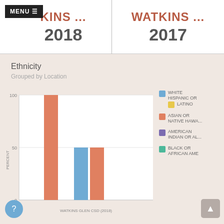WATKINS ... 2018 | WATKINS ... 2017
Ethnicity
Grouped by Location
[Figure (grouped-bar-chart): Ethnicity Grouped by Location]